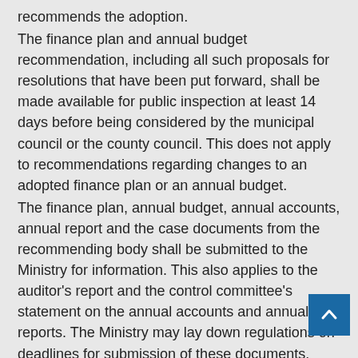recommends the adoption.
The finance plan and annual budget recommendation, including all such proposals for resolutions that have been put forward, shall be made available for public inspection at least 14 days before being considered by the municipal council or the county council. This does not apply to recommendations regarding changes to an adopted finance plan or an annual budget.
The finance plan, annual budget, annual accounts, annual report and the case documents from the recommending body shall be submitted to the Ministry for information. This also applies to the auditor’s report and the control committee’s statement on the annual accounts and annual reports. The Ministry may lay down regulations on deadlines for submission of these documents.
Section 14-4. Finance plan and annual budget
The finance plan shall show how the long-term challenges, targets and strategies in the municipal and regional plans shall be followed-up.